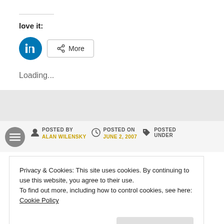love it:
[Figure (other): LinkedIn share button (blue circle with 'in' logo) and a 'More' share button]
Loading...
POSTED BY
ALAN WILENSKY
POSTED ON
JUNE 2, 2007
POSTED UNDER
Privacy & Cookies: This site uses cookies. By continuing to use this website, you agree to their use.
To find out more, including how to control cookies, see here: Cookie Policy
Close and accept